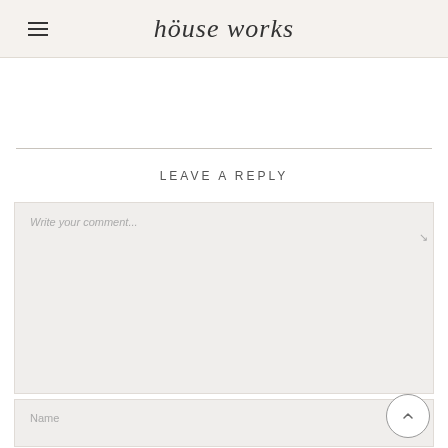house works
LEAVE A REPLY
Write your comment...
Name